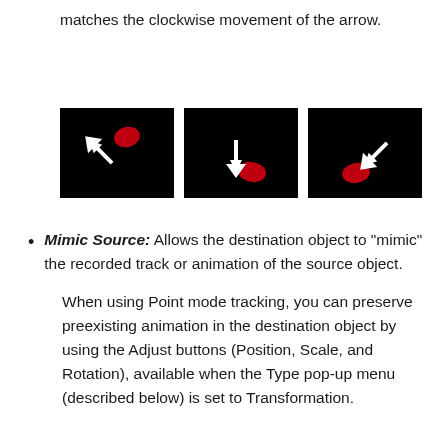matches the clockwise movement of the arrow.
[Figure (photo): Three black-background images side by side, each showing a white arrow cursor icon with a small red shape, depicting different rotational positions of an arrow in clockwise motion.]
Mimic Source: Allows the destination object to “mimic” the recorded track or animation of the source object.
When using Point mode tracking, you can preserve preexisting animation in the destination object by using the Adjust buttons (Position, Scale, and Rotation), available when the Type pop-up menu (described below) is set to Transformation.